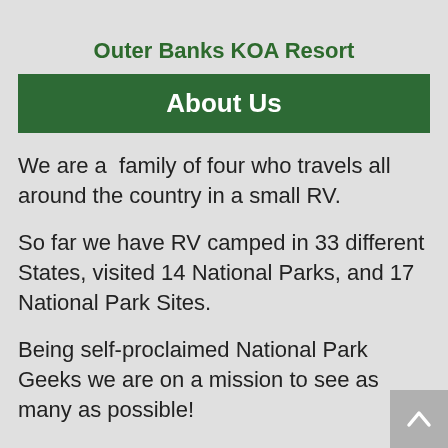Outer Banks KOA Resort
About Us
We are a  family of four who travels all around the country in a small RV.
So far we have RV camped in 33 different States, visited 14 National Parks, and 17 National Park Sites.
Being self-proclaimed National Park Geeks we are on a mission to see as many as possible!